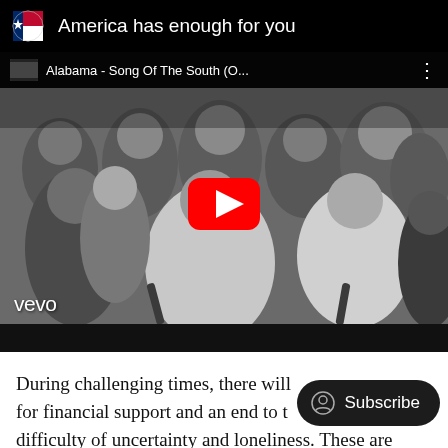America has enough for you
[Figure (screenshot): YouTube video thumbnail for 'Alabama - Song Of The South (O...' showing a black and white photo of a group of people with the YouTube play button overlay and a Vevo watermark in the bottom left.]
During challenging times, there will [Subscribe button overlay] g for financial support and an end to t[he] difficulty of uncertainty and loneliness. These are basic